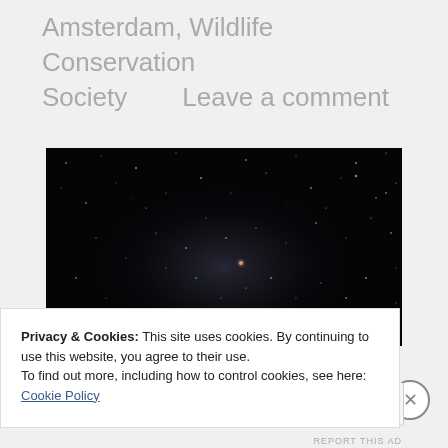Amsterdam, Wildlife Conservation Society      Leave a comment
[Figure (photo): Deep space astronomical photograph showing a dark field with numerous stars, galaxies, and a faint nebula or galaxy glow in the center]
Privacy & Cookies: This site uses cookies. By continuing to use this website, you agree to their use.
To find out more, including how to control cookies, see here: Cookie Policy
Close and accept